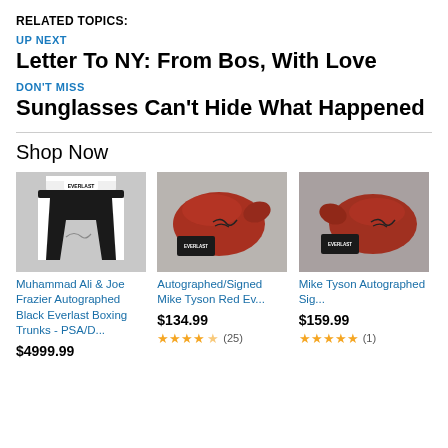RELATED TOPICS:
UP NEXT
Letter To NY: From Bos, With Love
DON'T MISS
Sunglasses Can't Hide What Happened
Shop Now
[Figure (photo): Muhammad Ali & Joe Frazier autographed black Everlast boxing trunks product image]
Muhammad Ali & Joe Frazier Autographed Black Everlast Boxing Trunks - PSA/D...
$4999.99
[Figure (photo): Autographed/Signed Mike Tyson Red Everlast boxing glove product image]
Autographed/Signed Mike Tyson Red Ev...
$134.99
★★★★½ (25)
[Figure (photo): Mike Tyson Autographed Signed Everlast boxing glove product image]
Mike Tyson Autographed Sig...
$159.99
★★★★★ (1)